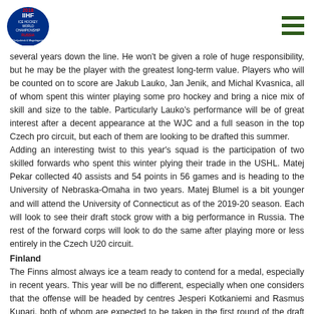IIHF 2018 Ice Hockey World Championship Russia (Chelyabinsk & Magnitogorsk)
several years down the line. He won't be given a role of huge responsibility, but he may be the player with the greatest long-term value. Players who will be counted on to score are Jakub Lauko, Jan Jenik, and Michal Kvasnica, all of whom spent this winter playing some pro hockey and bring a nice mix of skill and size to the table. Particularly Lauko's performance will be of great interest after a decent appearance at the WJC and a full season in the top Czech pro circuit, but each of them are looking to be drafted this summer. Adding an interesting twist to this year's squad is the participation of two skilled forwards who spent this winter plying their trade in the USHL. Matej Pekar collected 40 assists and 54 points in 56 games and is heading to the University of Nebraska-Omaha in two years. Matej Blumel is a bit younger and will attend the University of Connecticut as of the 2019-20 season. Each will look to see their draft stock grow with a big performance in Russia. The rest of the forward corps will look to do the same after playing more or less entirely in the Czech U20 circuit.
Finland
The Finns almost always ice a team ready to contend for a medal, especially in recent years. This year will be no different, especially when one considers that the offense will be headed by centres Jesperi Kotkaniemi and Rasmus Kupari, both of whom are expected to be taken in the first round of the draft this summer. A bit different in style, both played a regular role in Liiga play and Kotkaniemi was a regular contributor to his team's attack, contributing 10